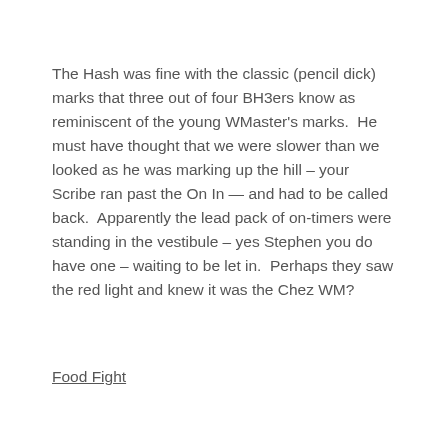The Hash was fine with the classic (pencil dick) marks that three out of four BH3ers know as reminiscent of the young WMaster's marks.  He must have thought that we were slower than we looked as he was marking up the hill – your Scribe ran past the On In — and had to be called back.  Apparently the lead pack of on-timers were standing in the vestibule – yes Stephen you do have one – waiting to be let in.  Perhaps they saw the red light and knew it was the Chez WM?
Food Fight